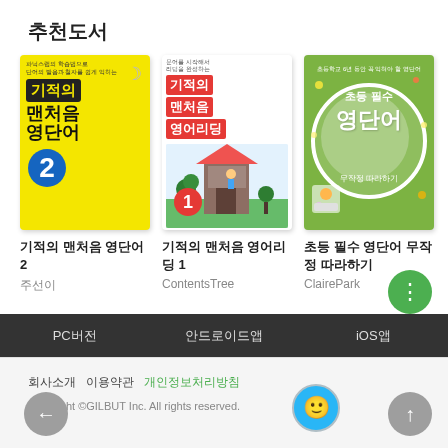추천도서
[Figure (illustration): Book cover: 기적의 맨처음 영단어 2, yellow cover with black title block]
기적의 맨처음 영단어 2
주선이
[Figure (illustration): Book cover: 기적의 맨처음 영어리딩 1, white cover with red title and illustrated scene]
기적의 맨처음 영어리딩 1
ContentsTree
[Figure (illustration): Book cover: 초등 필수 영단어 무작정 따라하기, green cover with circular design]
초등 필수 영단어 무작정 따라하기
ClairePark
PC버전   안드로이드앱   iOS앱
회사소개  이용약관  개인정보처리방침
Copyright ©GILBUT Inc. All rights reserved.